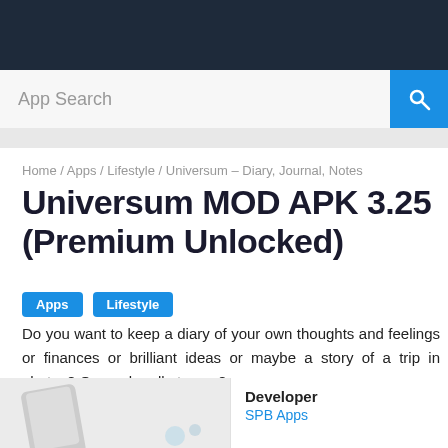App Search
Home / Apps / Lifestyle / Universum – Diary, Journal, Notes
Universum MOD APK 3.25 (Premium Unlocked)
Apps
Lifestyle
Do you want to keep a diary of your own thoughts and feelings or finances or brilliant ideas or maybe a story of a trip in photos? Or maybe all at once?
[Figure (photo): App screenshot showing a phone device on light background]
Developer
SPB Apps